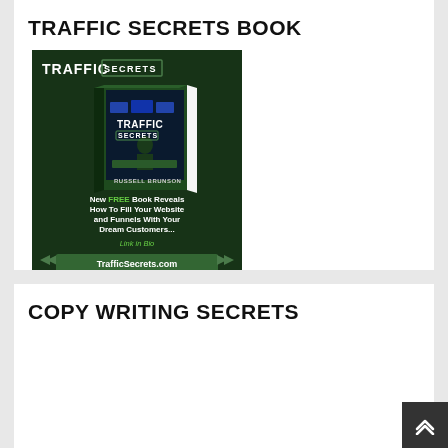TRAFFIC SECRETS BOOK
[Figure (illustration): Traffic Secrets book advertisement image on dark green background. Shows a 3D book titled 'Traffic Secrets' by Russell Brunson. Text reads: 'New FREE Book Reveals How To Fill Your Website and Funnels With Your Dream Customers... Link in Bio'. Bottom shows TrafficSecrets.com chevron banner.]
COPY WRITING SECRETS